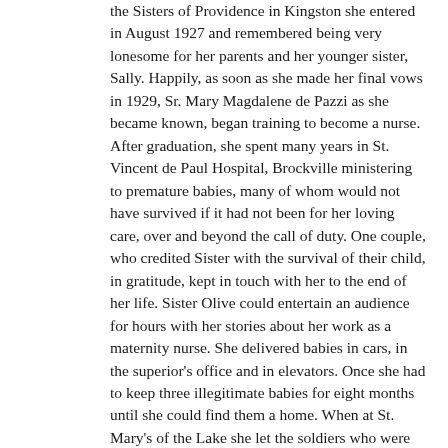the Sisters of Providence in Kingston she entered in August 1927 and remembered being very lonesome for her parents and her younger sister, Sally. Happily, as soon as she made her final vows in 1929, Sr. Mary Magdalene de Pazzi as she became known, began training to become a nurse. After graduation, she spent many years in St. Vincent de Paul Hospital, Brockville ministering to premature babies, many of whom would not have survived if it had not been for her loving care, over and beyond the call of duty. One couple, who credited Sister with the survival of their child, in gratitude, kept in touch with her to the end of her life. Sister Olive could entertain an audience for hours with her stories about her work as a maternity nurse. She delivered babies in cars, in the superior's office and in elevators. Once she had to keep three illegitimate babies for eight months until she could find them a home. When at St. Mary's of the Lake she let the soldiers who were billeted there help to care for some of the infants.